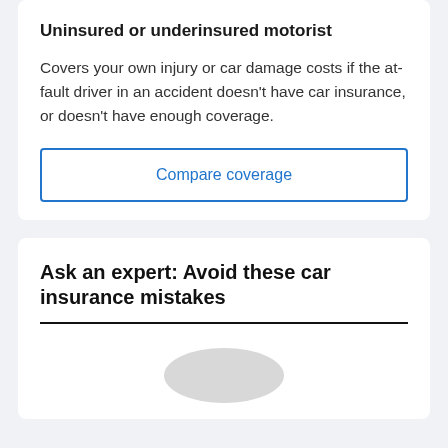Uninsured or underinsured motorist
Covers your own injury or car damage costs if the at-fault driver in an accident doesn’t have car insurance, or doesn’t have enough coverage.
Compare coverage
Ask an expert: Avoid these car insurance mistakes
[Figure (photo): Partially visible circular avatar/photo placeholder below the section title]